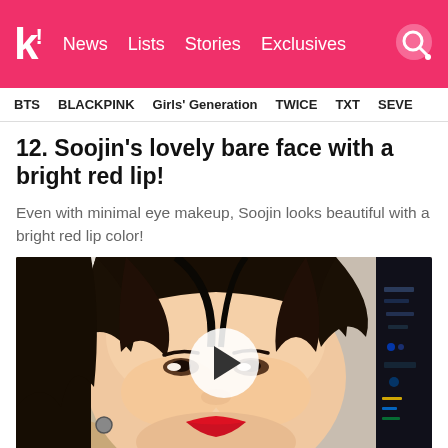k! News Lists Stories Exclusives
BTS BLACKPINK Girls' Generation TWICE TXT SEVE
12. Soojin's lovely bare face with a bright red lip!
Even with minimal eye makeup, Soojin looks beautiful with a bright red lip color!
[Figure (photo): Photo of Soojin with minimal eye makeup and bright red lips, with a video play button overlay in the center]